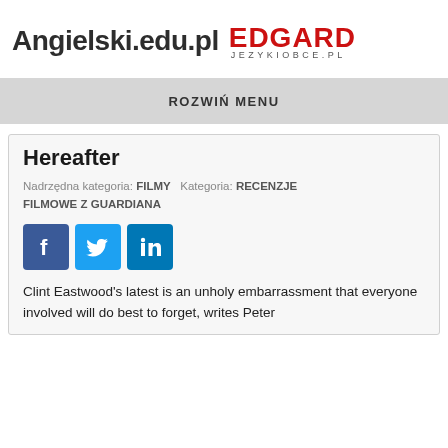Angielski.edu.pl EDGARD JEZYKIOBCE.PL
ROZWIŃ MENU
Hereafter
Nadrzędna kategoria: FILMY   Kategoria: RECENZJE FILMOWE Z GUARDIANA
[Figure (other): Social media sharing icons: Facebook, Twitter, LinkedIn]
Clint Eastwood's latest is an unholy embarrassment that everyone involved will do best to forget, writes Peter